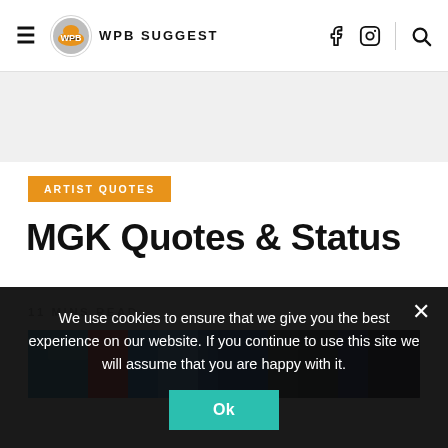WPB SUGGEST
ARTIST QUOTES
MGK Quotes & Status
11 MINS READ
[Figure (photo): Colorful concert or artistic photo used as article hero image]
We use cookies to ensure that we give you the best experience on our website. If you continue to use this site we will assume that you are happy with it.
Ok